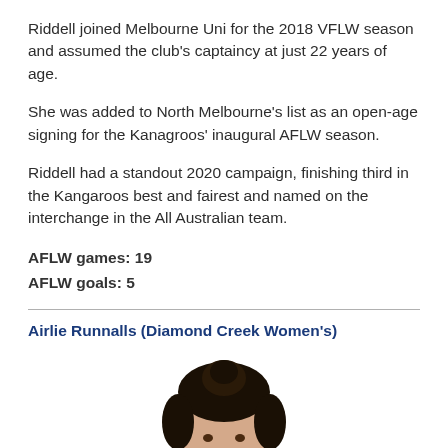Riddell joined Melbourne Uni for the 2018 VFLW season and assumed the club's captaincy at just 22 years of age.
She was added to North Melbourne's list as an open-age signing for the Kanagroos' inaugural AFLW season.
Riddell had a standout 2020 campaign, finishing third in the Kangaroos best and fairest and named on the interchange in the All Australian team.
AFLW games: 19
AFLW goals: 5
Airlie Runnalls (Diamond Creek Women's)
[Figure (photo): Headshot photo of Airlie Runnalls showing head and upper portion with dark hair up]